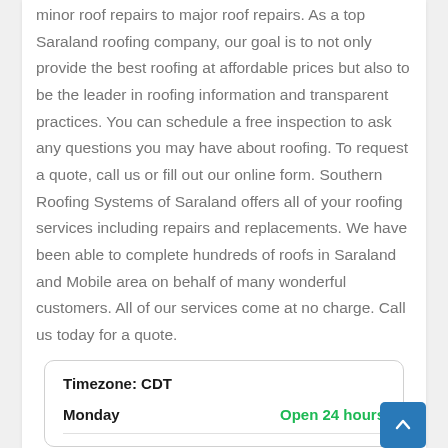minor roof repairs to major roof repairs. As a top Saraland roofing company, our goal is to not only provide the best roofing at affordable prices but also to be the leader in roofing information and transparent practices. You can schedule a free inspection to ask any questions you may have about roofing. To request a quote, call us or fill out our online form. Southern Roofing Systems of Saraland offers all of your roofing services including repairs and replacements. We have been able to complete hundreds of roofs in Saraland and Mobile area on behalf of many wonderful customers. All of our services come at no charge. Call us today for a quote.
|  |  |
| --- | --- |
| Timezone: CDT |  |
| Monday | Open 24 hours |